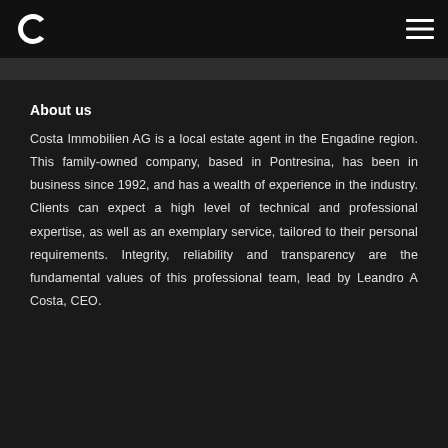[Figure (logo): White letter C logo mark on dark background, top left of header]
[Figure (other): Hamburger menu icon (three horizontal white lines) on dark background, top right of header]
About us
Costa Immobilien AG is a local estate agent in the Engadine region. This family-owned company, based in Pontresina, has been in business since 1992, and has a wealth of experience in the industry. Clients can expect a high level of technical and professional expertise, as well as an exemplary service, tailored to their personal requirements. Integrity, reliability and transparency are the fundamental values of this professional team, lead by Leandro A Costa, CEO.